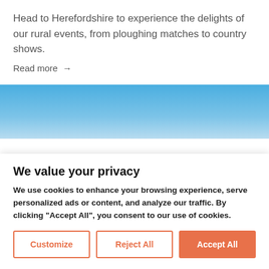Head to Herefordshire to experience the delights of our rural events, from ploughing matches to country shows.
Read more →
[Figure (photo): Blue sky image]
We value your privacy
We use cookies to enhance your browsing experience, serve personalized ads or content, and analyze our traffic. By clicking "Accept All", you consent to our use of cookies.
Customize | Reject All | Accept All